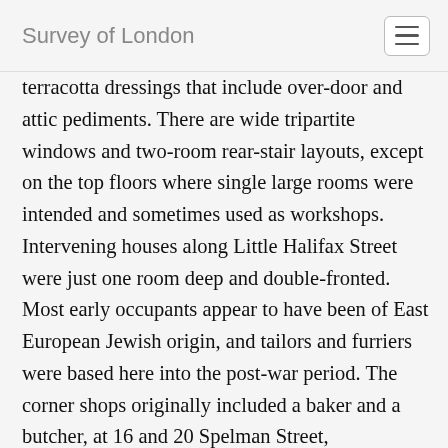Survey of London
terracotta dressings that include over-door and attic pediments. There are wide tripartite windows and two-room rear-stair layouts, except on the top floors where single large rooms were intended and sometimes used as workshops. Intervening houses along Little Halifax Street were just one room deep and double-fronted. Most early occupants appear to have been of East European Jewish origin, and tailors and furriers were based here into the post-war period. The corner shops originally included a baker and a butcher, at 16 and 20 Spelman Street, respectively. Occupancy became largely Bengali and the bake-house behind 16 Spelman Street was adapted to be the Shah Monowar Ali Sunni Madrasha (school). The southeast (Casson